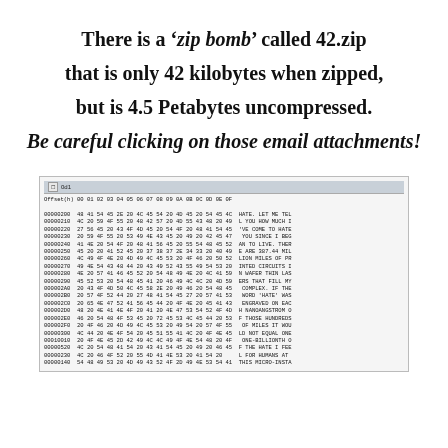There is a ‘zip bomb’ called 42.zip that is only 42 kilobytes when zipped, but is 4.5 Petabytes uncompressed.
Be careful clicking on those email attachments!
[Figure (screenshot): Hex editor screenshot showing binary hex dump of 42.zip file with offset column, hex bytes, and ASCII representation on the right.]